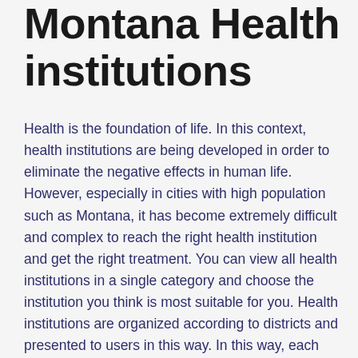Montana Health institutions
Health is the foundation of life. In this context, health institutions are being developed in order to eliminate the negative effects in human life. However, especially in cities with high population such as Montana, it has become extremely difficult and complex to reach the right health institution and get the right treatment. You can view all health institutions in a single category and choose the institution you think is most suitable for you. Health institutions are organized according to districts and presented to users in this way. In this way, each user can choose their own district within the category and choose the closest health institution from there. After choosing the institution, you can make an appointment with the institution you want with the hospital appointment process.